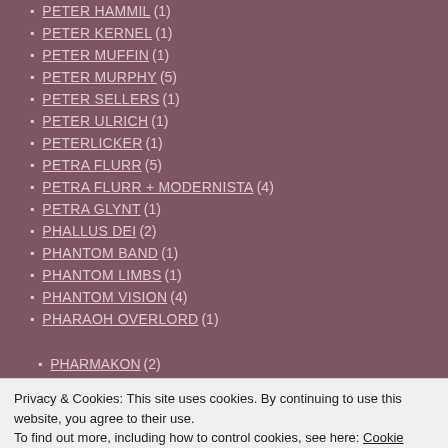PETER HAMMIL (1)
PETER KERNEL (1)
PETER MUFFIN (1)
PETER MURPHY (5)
PETER SELLERS (1)
PETER ULRICH (1)
PETERLICKER (1)
PETRA FLURR (5)
PETRA FLURR + MODERNISTA (4)
PETRA GLYNT (1)
PHALLUS DEI (2)
PHANTOM BAND (1)
PHANTOM LIMBS (1)
PHANTOM VISION (4)
PHARAOH OVERLORD (1)
PHARMAKON (2)
Privacy & Cookies: This site uses cookies. By continuing to use this website, you agree to their use. To find out more, including how to control cookies, see here: Cookie Policy
Close and accept